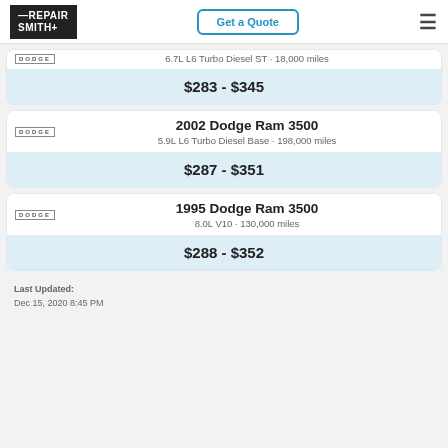RepairSmith | Get a Quote
6.7L L6 Turbo Diesel ST · 18,000 miles
$283 - $345
2002 Dodge Ram 3500
5.9L L6 Turbo Diesel Base · 198,000 miles
$287 - $351
1995 Dodge Ram 3500
8.0L V10 · 130,000 miles
$288 - $352
Last Updated: Dec 15, 2020 8:45 PM